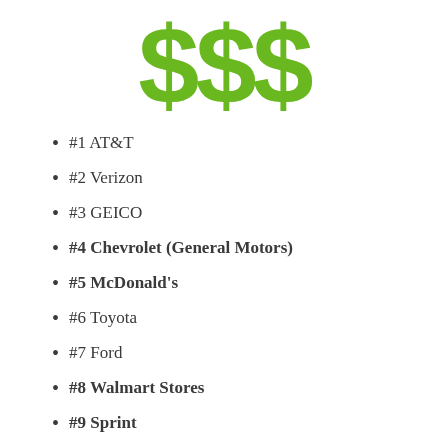[Figure (illustration): Three large green dollar signs '$$$' displayed as decorative header text]
#1 AT&T
#2 Verizon
#3 GEICO
#4 Chevrolet (General Motors)
#5 McDonald's
#6 Toyota
#7 Ford
#8 Walmart Stores
#9 Sprint
#10 Macy's
Evidently, “all that advertising” isn’t doing “all